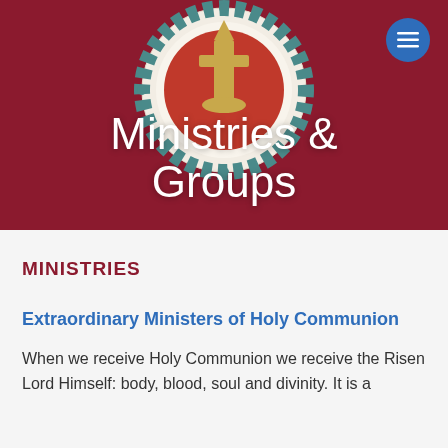[Figure (photo): Church emblem/medallion with red background showing a circular decorative religious artwork with teal geometric border pattern and golden central motif on a crimson/dark red background]
Ministries & Groups
MINISTRIES
Extraordinary Ministers of Holy Communion
When we receive Holy Communion we receive the Risen Lord Himself: body, blood, soul and divinity. It is a